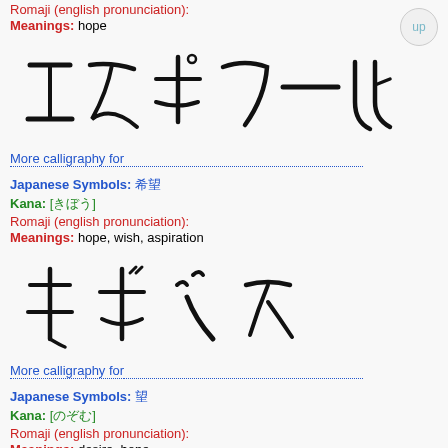Romaji (english pronunciation):
Meanings: hope
[Figure (illustration): Japanese katakana calligraphy characters: エ ス ポ ワ ー ル written in brush stroke style]
More calligraphy for
Japanese Symbols: 希望
Kana: [きぼう]
Romaji (english pronunciation):
Meanings: hope, wish, aspiration
[Figure (illustration): Japanese katakana calligraphy characters: キ ボ ン ヌ written in brush stroke style]
More calligraphy for
Japanese Symbols: 望
Kana: [のぞむ]
Romaji (english pronunciation):
Meanings: desire, hope